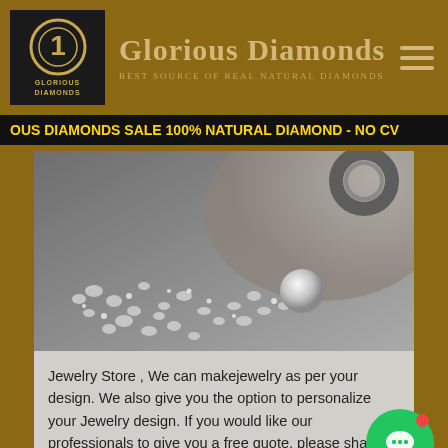Glorious Diamonds — BEST SOURCE OF REAL NATURAL DIAMONDS
OUS DIAMONDS SALE 100% NATURAL DIAMOND - NO CV
[Figure (photo): Close-up photo of loose diamonds/crystals scattered on a surface with a ring and jeweler's loupe in grayscale tones]
Jewelry Store , We can makejewelry as per your design. We also give you the option to personalize your Jewelry design. If you would like our professionals to give you a free quote, please share the products detail.